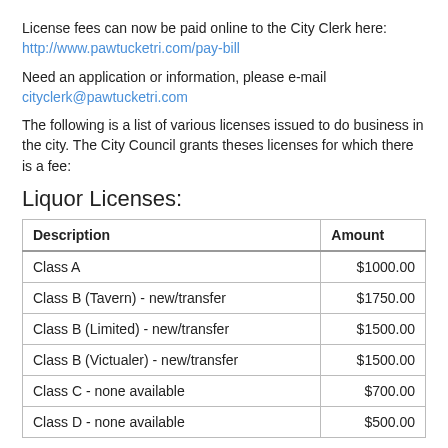License fees can now be paid online to the City Clerk here: http://www.pawtucketri.com/pay-bill
Need an application or information, please e-mail cityclerk@pawtucketri.com
The following is a list of various licenses issued to do business in the city. The City Council grants theses licenses for which there is a fee:
Liquor Licenses:
| Description | Amount |
| --- | --- |
| Class A | $1000.00 |
| Class B (Tavern) - new/transfer | $1750.00 |
| Class B (Limited) - new/transfer | $1500.00 |
| Class B (Victualer) - new/transfer | $1500.00 |
| Class C - none available | $700.00 |
| Class D - none available | $500.00 |